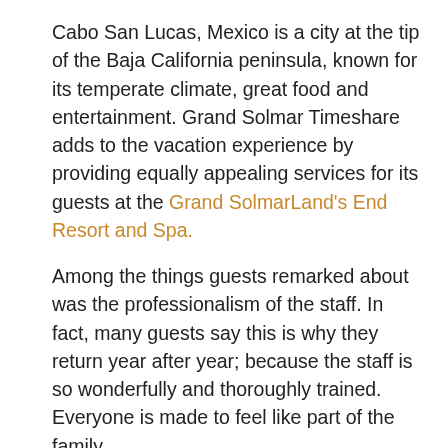Cabo San Lucas, Mexico is a city at the tip of the Baja California peninsula, known for its temperate climate, great food and entertainment. Grand Solmar Timeshare adds to the vacation experience by providing equally appealing services for its guests at the Grand SolmarLand's End Resort and Spa.
Among the things guests remarked about was the professionalism of the staff. In fact, many guests say this is why they return year after year; because the staff is so wonderfully and thoroughly trained. Everyone is made to feel like part of the family.
In 2013, Grand Solmar Land's End Resort and Spa was awarded a TripAdvisor Traveler's Choice Award. This award is the result of travelers' votes. TripAdvisor, a great site for vacation ideas, polls its readers and awards the Traveler's Choice Award to those few vacation destinations that really meet the